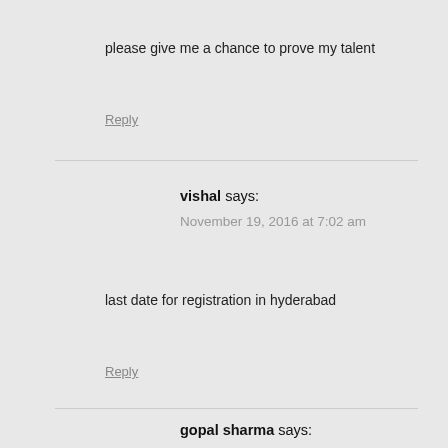please give me a chance to prove my talent
Reply
vishal says:
November 19, 2016 at 7:02 am
last date for registration in hyderabad
Reply
gopal sharma says:
November 19, 2016 at 2:41 pm